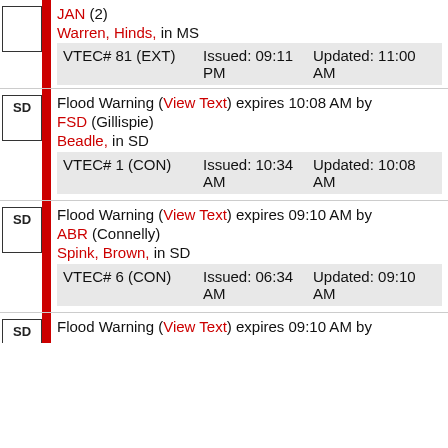JAN (2) Warren, Hinds, in MS VTEC# 81 (EXT) Issued: 09:11 PM Updated: 11:00 AM
Flood Warning (View Text) expires 10:08 AM by FSD (Gillispie) Beadle, in SD VTEC# 1 (CON) Issued: 10:34 AM Updated: 10:08 AM
Flood Warning (View Text) expires 09:10 AM by ABR (Connelly) Spink, Brown, in SD VTEC# 6 (CON) Issued: 06:34 AM Updated: 09:10 AM
Flood Warning (View Text) expires 09:10 AM by